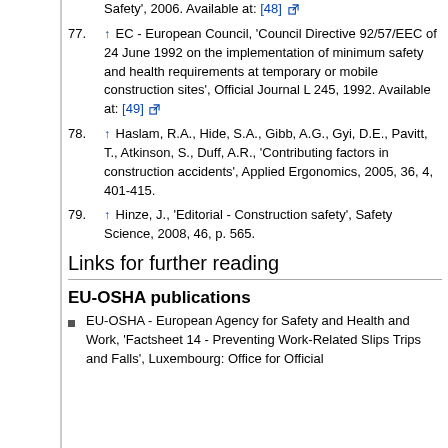77. ↑ EC - European Council, 'Council Directive 92/57/EEC of 24 June 1992 on the implementation of minimum safety and health requirements at temporary or mobile construction sites', Official Journal L 245, 1992. Available at: [49]
78. ↑ Haslam, R.A., Hide, S.A., Gibb, A.G., Gyi, D.E., Pavitt, T., Atkinson, S., Duff, A.R., 'Contributing factors in construction accidents', Applied Ergonomics, 2005, 36, 4, 401-415.
79. ↑ Hinze, J., 'Editorial - Construction safety', Safety Science, 2008, 46, p. 565.
Links for further reading
EU-OSHA publications
EU-OSHA - European Agency for Safety and Health and Work, 'Factsheet 14 - Preventing Work-Related Slips Trips and Falls', Luxembourg: Office for Official